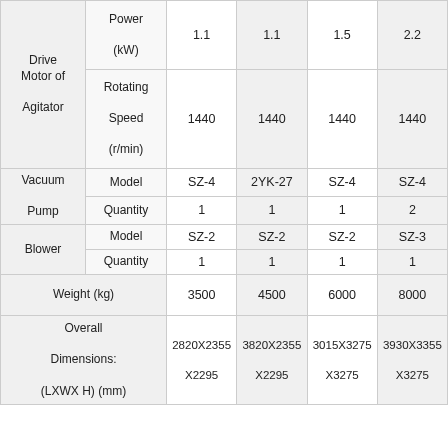|  |  | Col1 | Col2 | Col3 | Col4 |
| --- | --- | --- | --- | --- | --- |
| Drive Motor of Agitator | Power (kW) | 1.1 | 1.1 | 1.5 | 2.2 |
| Drive Motor of Agitator | Rotating Speed (r/min) | 1440 | 1440 | 1440 | 1440 |
| Vacuum Pump | Model | SZ-4 | 2YK-27 | SZ-4 | SZ-4 |
| Vacuum Pump | Quantity | 1 | 1 | 1 | 2 |
| Blower | Model | SZ-2 | SZ-2 | SZ-2 | SZ-3 |
| Blower | Quantity | 1 | 1 | 1 | 1 |
| Weight (kg) |  | 3500 | 4500 | 6000 | 8000 |
| Overall Dimensions: (LXWX H) (mm) |  | 2820X2355 X2295 | 3820X2355 X2295 | 3015X3275 X3275 | 3930X3355 X3275 |